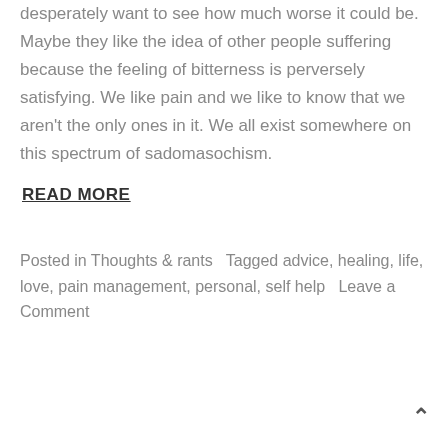desperately want to see how much worse it could be. Maybe they like the idea of other people suffering because the feeling of bitterness is perversely satisfying. We like pain and we like to know that we aren't the only ones in it. We all exist somewhere on this spectrum of sadomasochism.
READ MORE
Posted in Thoughts & rants   Tagged advice, healing, life, love, pain management, personal, self help   Leave a Comment